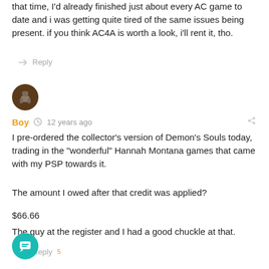that time, I'd already finished just about every AC game to date and i was getting quite tired of the same issues being present. if you think AC4A is worth a look, i'll rent it, tho.
Reply
[Figure (illustration): User avatar: brown circle with pixelated character icon]
Boy  12 years ago
I pre-ordered the collector's version of Demon's Souls today, trading in the "wonderful" Hannah Montana games that came with my PSP towards it.

The amount I owed after that credit was applied?

$66.66

The guy at the register and I had a good chuckle at that.
Reply
[Figure (illustration): Teal circular chat FAB button with message icon]